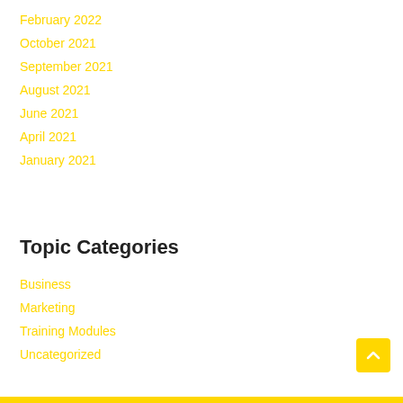February 2022
October 2021
September 2021
August 2021
June 2021
April 2021
January 2021
Topic Categories
Business
Marketing
Training Modules
Uncategorized